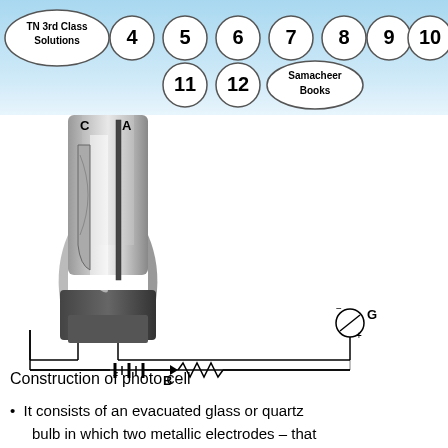[Figure (infographic): Navigation header with TN 3rd Class Solutions logo and numbered chapter circles (4,5,6,7,8,9,10,11,12) and Samacheer Books circle]
[Figure (engineering-diagram): Construction of photo cell diagram showing a glass bulb with electrodes C and A, connected to a circuit with battery B and galvanometer G with resistor]
Construction of photo cell
It consists of an evacuated glass or quartz bulb in which two metallic electrodes – that